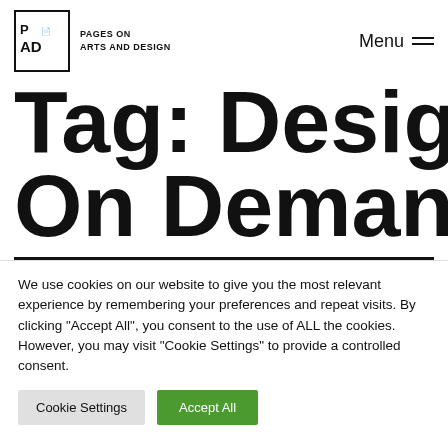PAGES ON ARTS AND DESIGN | Menu
Tag: Design On Demand
We use cookies on our website to give you the most relevant experience by remembering your preferences and repeat visits. By clicking "Accept All", you consent to the use of ALL the cookies. However, you may visit "Cookie Settings" to provide a controlled consent.
Cookie Settings
Accept All